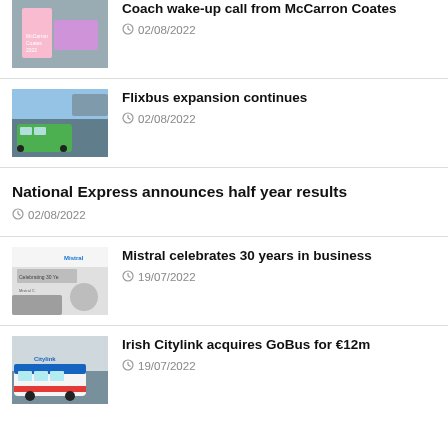Coach wake-up call from McCarron Coates — 02/08/2022
Flixbus expansion continues — 02/08/2022
National Express announces half year results — 02/08/2022
Mistral celebrates 30 years in business — 19/07/2022
Irish Citylink acquires GoBus for €12m — 19/07/2022